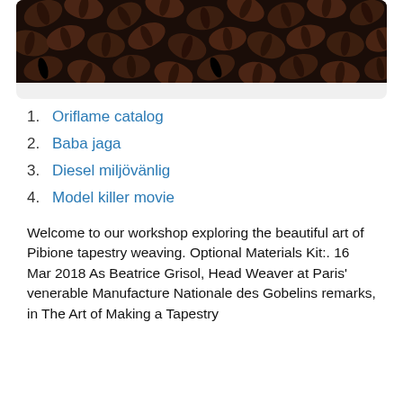[Figure (photo): Close-up photograph of dark roasted coffee beans filling the frame.]
1. Oriflame catalog
2. Baba jaga
3. Diesel miljövänlig
4. Model killer movie
Welcome to our workshop exploring the beautiful art of Pibione tapestry weaving. Optional Materials Kit:. 16 Mar 2018 As Beatrice Grisol, Head Weaver at Paris' venerable Manufacture Nationale des Gobelins remarks, in The Art of Making a Tapestry